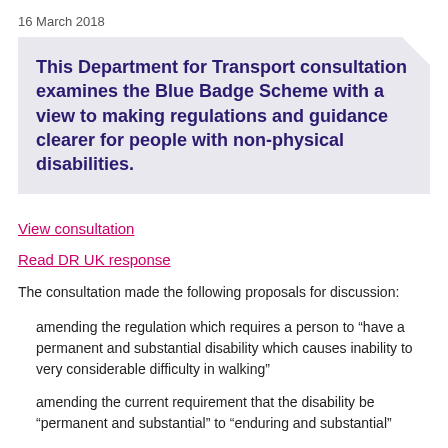16 March 2018
This Department for Transport consultation examines the Blue Badge Scheme with a view to making regulations and guidance clearer for people with non-physical disabilities.
View consultation
Read DR UK response
The consultation made the following proposals for discussion:
amending the regulation which requires a person to “have a permanent and substantial disability which causes inability to very considerable difficulty in walking”
amending the current requirement that the disability be “permanent and substantial” to “enduring and substantial”